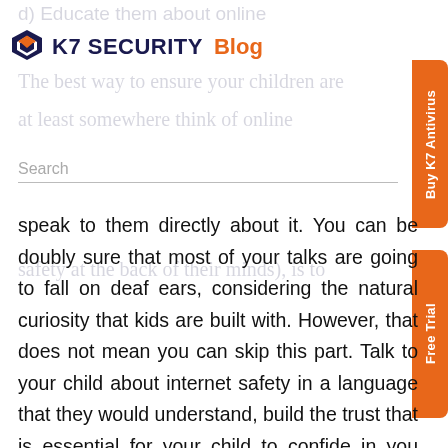K7 SECURITY Blog
The best way to ensure your children are
at least somewhere think of online safety at the back of their minds), is to
speak to them directly about it. You can be doubly sure that most of your talks are going to fall on deaf ears, considering the natural curiosity that kids are built with. However, that does not mean you can skip this part. Talk to your child about internet safety in a language that they would understand, build the trust that is essential for your child to confide in you when in trouble. Tell them how the world beyond